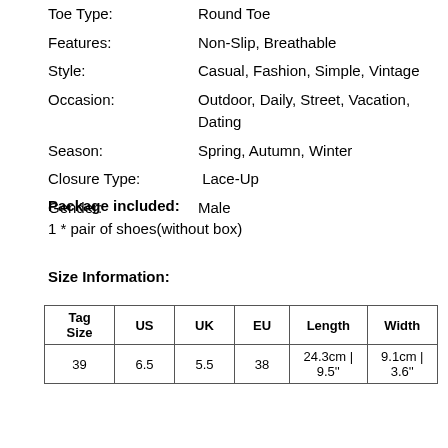| Toe Type: | Round Toe |
| Features: | Non-Slip, Breathable |
| Style: | Casual, Fashion, Simple, Vintage |
| Occasion: | Outdoor, Daily, Street, Vacation, Dating |
| Season: | Spring, Autumn, Winter |
| Closure Type: | Lace-Up |
| Gender: | Male |
Package included:
1 * pair of shoes(without box)
Size Information:
| Tag
Size | US | UK | EU | Length | Width |
| --- | --- | --- | --- | --- | --- |
| 39 | 6.5 | 5.5 | 38 | 24.3cm | 9.5'' | 9.1cm | 3.6'' |